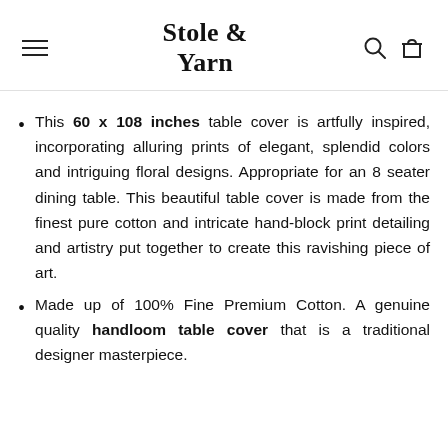Stole & Yarn
This 60 x 108 inches table cover is artfully inspired, incorporating alluring prints of elegant, splendid colors and intriguing floral designs. Appropriate for an 8 seater dining table. This beautiful table cover is made from the finest pure cotton and intricate hand-block print detailing and artistry put together to create this ravishing piece of art.
Made up of 100% Fine Premium Cotton. A genuine quality handloom table cover that is a traditional designer masterpiece.